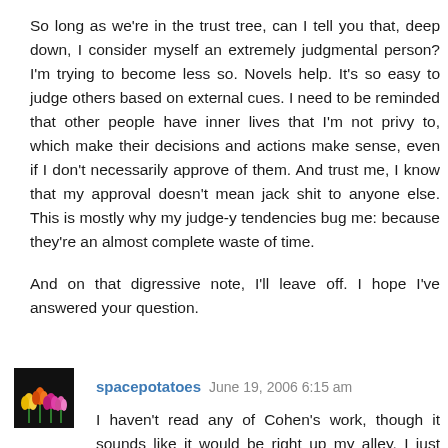So long as we're in the trust tree, can I tell you that, deep down, I consider myself an extremely judgmental person? I'm trying to become less so. Novels help. It's so easy to judge others based on external cues. I need to be reminded that other people have inner lives that I'm not privy to, which make their decisions and actions make sense, even if I don't necessarily approve of them. And trust me, I know that my approval doesn't mean jack shit to anyone else. This is mostly why my judge-y tendencies bug me: because they're an almost complete waste of time.

And on that digressive note, I'll leave off. I hope I've answered your question.
Reply
spacepotatoes  June 19, 2006 6:15 am
I haven't read any of Cohen's work, though it sounds like it would be right up my alley. I just wanted to comment on the likability of characters...